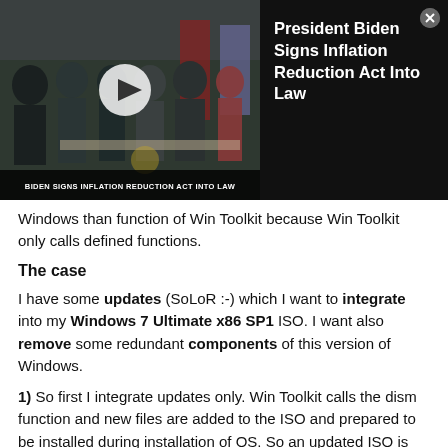[Figure (screenshot): Video thumbnail showing President Biden signing the Inflation Reduction Act, with a play button overlay and caption bar reading 'BIDEN SIGNS INFLATION REDUCTION ACT INTO LAW']
President Biden Signs Inflation Reduction Act Into Law
Windows than function of Win Toolkit because Win Toolkit only calls defined functions.
The case
I have some updates (SoLoR :-) which I want to integrate into my Windows 7 Ultimate x86 SP1 ISO. I want also remove some redundant components of this version of Windows.
1) So first I integrate updates only. Win Toolkit calls the dism function and new files are added to the ISO and prepared to be installed during installation of OS. So an updated ISO is created.
2) Then I run Win Toolkit again to remove some components. Win Toolkit calls dism again to instant remove of the files belong to removed components. But this dism function is so powerful that also checks whether are there some integrated updates related to components whis is not availaible (I removed them by Win